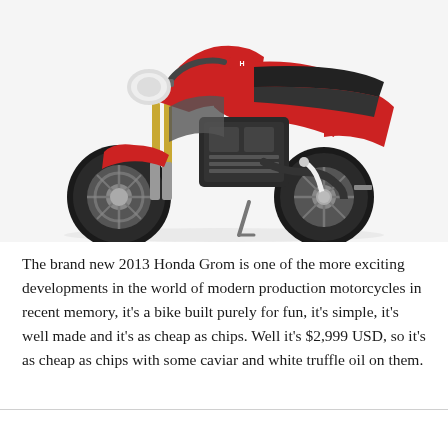[Figure (photo): Photo of a red and black 2013 Honda Grom mini motorcycle on a white background, showing the front and side view with gold front forks, black engine, and white rear suspension linkage.]
The brand new 2013 Honda Grom is one of the more exciting developments in the world of modern production motorcycles in recent memory, it's a bike built purely for fun, it's simple, it's well made and it's as cheap as chips. Well it's $2,999 USD, so it's as cheap as chips with some caviar and white truffle oil on them.